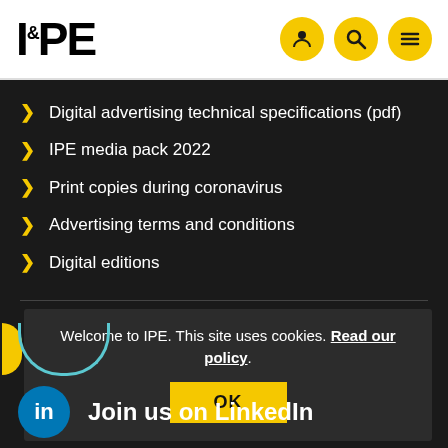IPE
Digital advertising technical specifications (pdf)
IPE media pack 2022
Print copies during coronavirus
Advertising terms and conditions
Digital editions
Welcome to IPE. This site uses cookies. Read our policy.
OK
Join us on LinkedIn